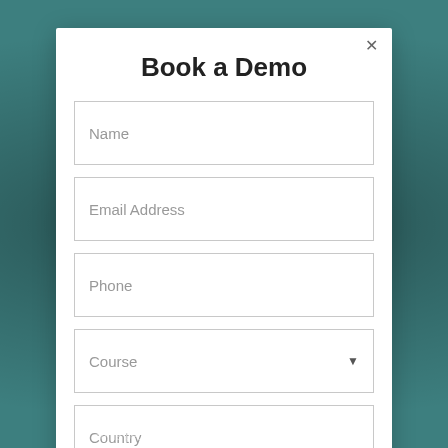Book a Demo
Name
Email Address
Phone
Course
Country
Submit